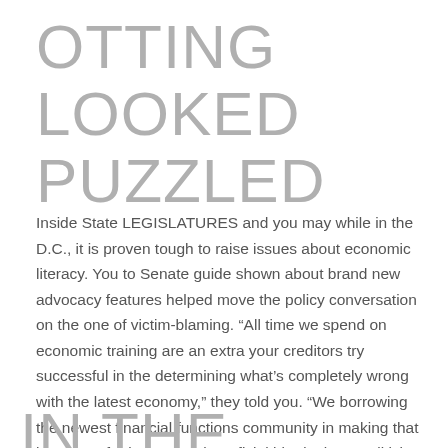OTTING LOOKED PUZZLED
Inside State LEGISLATURES and you may while in the D.C., it is proven tough to raise issues about economic literacy. You to Senate guide shown about brand new advocacy features helped move the policy conversation on the one of victim-blaming. “All time we spend on economic training are an extra your creditors try successful in the determining what’s completely wrong with the latest economy,” they told you. “We borrowing the newest financial functions community in making that it such as for instance a beneficial big deal. No politician wants to occupy the governmental financial support reverse degree.”
IN THE EVENT THE A